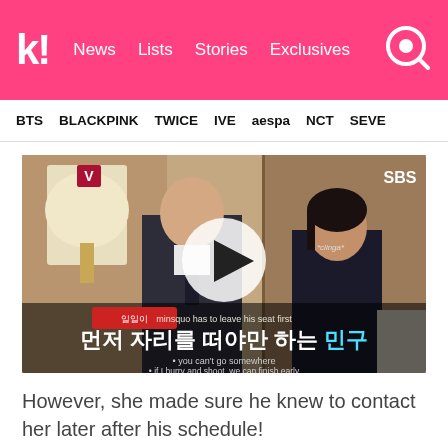koreaboo | News  Lists  Stories  Exclusives
BTS  BLACKPINK  TWICE  IVE  aespa  NCT  SEVE
[Figure (screenshot): SBS video player showing two people in formal/business attire in an indoor setting. A play button overlay is visible in the center. Korean subtitles at bottom read: 먼저 자리를 떠야만 하는 민구, with English subtitles: 'minsquo has to leave his seat first', 'you can't go somewhere', 'if I hurry and shoot, we can finish early']
However, she made sure he knew to contact her later after his schedule!